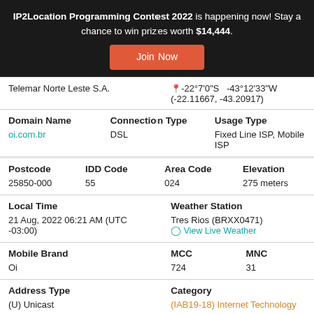IP2Location Programming Contest 2022 is happening now! Stay a chance to win prizes worth $14,444.
Join Now
| Telemar Norte Leste S.A. | -22°7'0"S  -43°12'33"W
(-22.11667, -43.20917) |
| Domain Name | Connection Type | Usage Type |  |
| oi.com.br | DSL | Fixed Line ISP, Mobile ISP |  |
| Postcode | IDD Code | Area Code | Elevation |  |
| 25850-000 | 55 | 024 | 275 meters |  |
| Local Time | Weather Station |  |
| 21 Aug, 2022 06:21 AM (UTC -03:00) | Tres Rios (BRXX0471) View Live Weather |  |
| Mobile Brand | MCC | MNC |  |
| Oi | 724 | 31 |  |
| Address Type | Category |  |
| (U) Unicast | (IAB19-18) Internet Technology |  |